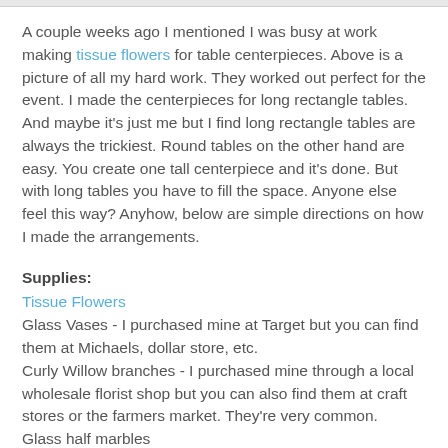A couple weeks ago I mentioned I was busy at work making tissue flowers for table centerpieces. Above is a picture of all my hard work. They worked out perfect for the event. I made the centerpieces for long rectangle tables. And maybe it's just me but I find long rectangle tables are always the trickiest. Round tables on the other hand are easy. You create one tall centerpiece and it's done. But with long tables you have to fill the space. Anyone else feel this way? Anyhow, below are simple directions on how I made the arrangements.
Supplies:
Tissue Flowers
Glass Vases - I purchased mine at Target but you can find them at Michaels, dollar store, etc.
Curly Willow branches - I purchased mine through a local wholesale florist shop but you can also find them at craft stores or the farmers market. They're very common.
Glass half marbles
Washi paper - any decorative paper will work
Removable Glue dots